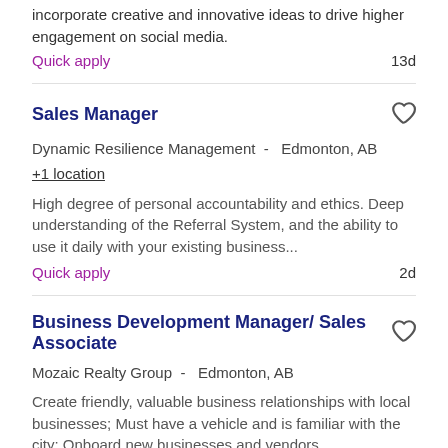incorporate creative and innovative ideas to drive higher engagement on social media.
Quick apply   13d
Sales Manager
Dynamic Resilience Management -  Edmonton, AB
+1 location
High degree of personal accountability and ethics. Deep understanding of the Referral System, and the ability to use it daily with your existing business...
Quick apply   2d
Business Development Manager/ Sales Associate
Mozaic Realty Group -  Edmonton, AB
Create friendly, valuable business relationships with local businesses; Must have a vehicle and is familiar with the city; Onboard new businesses and vendors.